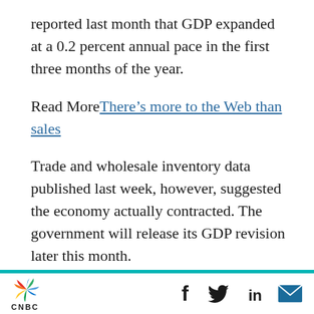reported last month that GDP expanded at a 0.2 percent annual pace in the first three months of the year.
Read More There’s more to the Web than sales
Trade and wholesale inventory data published last week, however, suggested the economy actually contracted. The government will release its GDP revision later this month.
Retail sales last month were curbed by a 0.4 percent drop in receipts at auto dealerships. Sales at service stations fell 0.7 percent. Sales at
[Figure (logo): CNBC logo with peacock graphic and social media icons (Facebook, Twitter, LinkedIn, Email)]